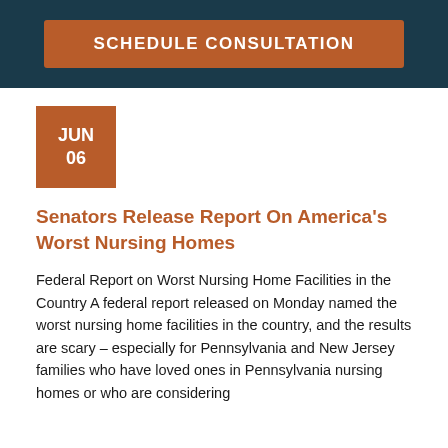[Figure (other): Dark navy blue banner with an orange/brown 'SCHEDULE CONSULTATION' button]
[Figure (other): Orange square date badge showing JUN 06]
Senators Release Report On America's Worst Nursing Homes
Federal Report on Worst Nursing Home Facilities in the Country A federal report released on Monday named the worst nursing home facilities in the country, and the results are scary – especially for Pennsylvania and New Jersey families who have loved ones in Pennsylvania nursing homes or who are considering